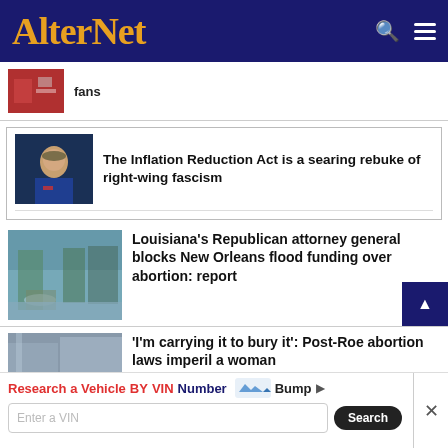AlterNet
fans
The Inflation Reduction Act is a searing rebuke of right-wing fascism
[Figure (photo): Person at podium with American flag background]
[Figure (photo): Older man in suit at microphone]
Louisiana's Republican attorney general blocks New Orleans flood funding over abortion: report
[Figure (photo): Flooded street with boat and soldier]
'I'm carrying it to bury it': Post-Roe abortion laws imperil a woman
[Figure (photo): Building exterior partial view]
Research a Vehicle BY VIN Number  Bump  Enter a VIN  Search